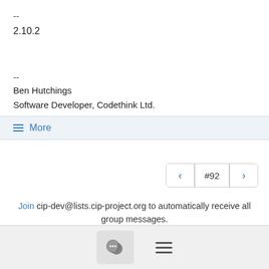--
2.10.2
--
Ben Hutchings
Software Developer, Codethink Ltd.
≡ More
< #92 >
Join cip-dev@lists.cip-project.org to automatically receive all group messages.
[Figure (other): Footer navigation bar with chat icon button and hamburger menu icon]